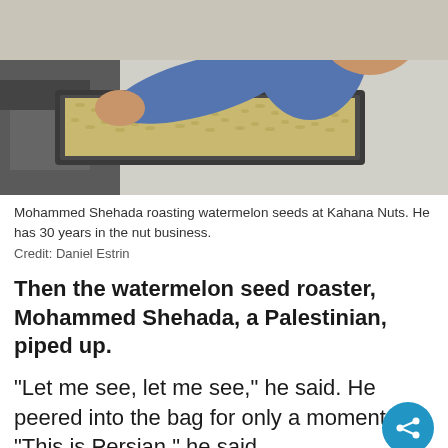[Figure (photo): Mohammed Shehada roasting watermelon seeds at Kahana Nuts, pouring seeds from a large metal tray. He wears a blue t-shirt.]
Mohammed Shehada roasting watermelon seeds at Kahana Nuts. He has 30 years in the nut business.
Credit: Daniel Estrin
Then the watermelon seed roaster, Mohammed Shehada, a Palestinian, piped up.
“Let me see, let me see,” he said. He peered into the bag for only a moment. “This is Persian,” he said.
“It’s not Persian,” the Israeli merchant said.